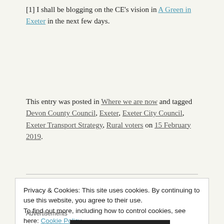[1] I shall be blogging on the CE's vision in A Green in Exeter in the next few days.
This entry was posted in Where we are now and tagged Devon County Council, Exeter, Exeter City Council, Exeter Transport Strategy, Rural voters on 15 February 2019.
Privacy & Cookies: This site uses cookies. By continuing to use this website, you agree to their use.
To find out more, including how to control cookies, see here: Cookie Policy
Close and accept
Advertisements